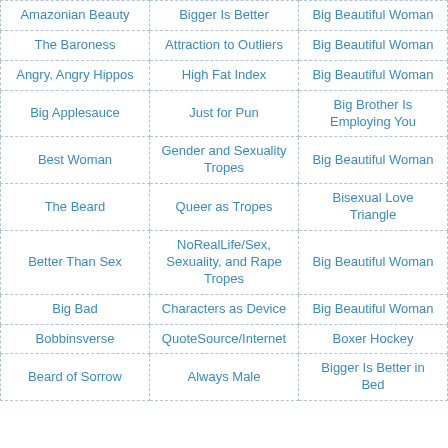| Amazonian Beauty | Bigger Is Better | Big Beautiful Woman |
| The Baroness | Attraction to Outliers | Big Beautiful Woman |
| Angry, Angry Hippos | High Fat Index | Big Beautiful Woman |
| Big Applesauce | Just for Pun | Big Brother Is Employing You |
| Best Woman | Gender and Sexuality Tropes | Big Beautiful Woman |
| The Beard | Queer as Tropes | Bisexual Love Triangle |
| Better Than Sex | NoRealLife/Sex, Sexuality, and Rape Tropes | Big Beautiful Woman |
| Big Bad | Characters as Device | Big Beautiful Woman |
| Bobbinsverse | QuoteSource/Internet | Boxer Hockey |
| Beard of Sorrow | Always Male | Bigger Is Better in Bed |